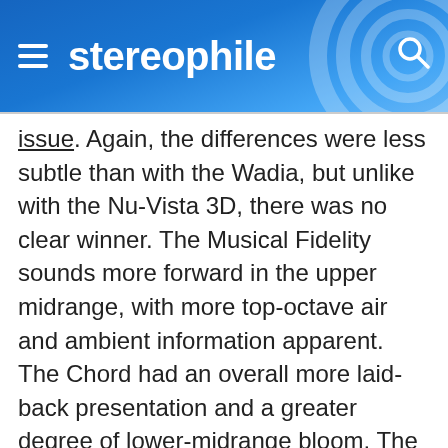stereophile
issue. Again, the differences were less subtle than with the Wadia, but unlike with the Nu-Vista 3D, there was no clear winner. The Musical Fidelity sounds more forward in the upper midrange, with more top-octave air and ambient information apparent. The Chord had an overall more laid-back presentation and a greater degree of lower-midrange bloom. The bass was where the greatest differences could be perceived. The Chord's bass was fatter, with less-well-defined leading edges to bass guitar and double bass. Not only was the Musical Fidelity's reproduction of low frequencies better-defined, it also seemed to have a smidgen greater bass extension.